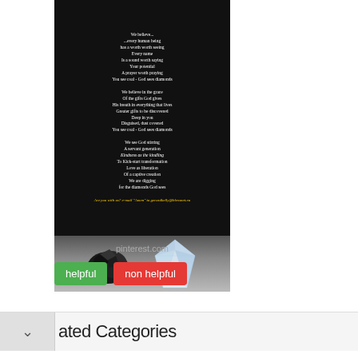[Figure (illustration): A black background image containing a poem in white/italic text ('We believe... every human being has a worth worth seeing...') with a coal lump and a diamond crystal at the bottom, sourced from pinterest.com]
pinterest.com
helpful   non helpful
ated Categories